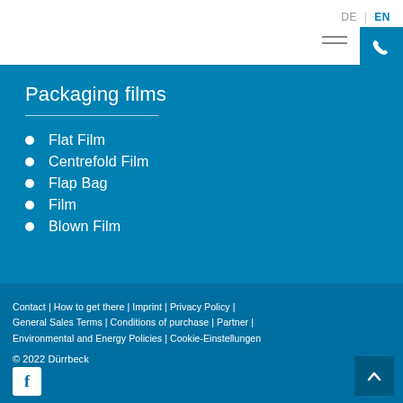DE | EN
Packaging films
Flat Film
Centrefold Film
Flap Bag
Film
Blown Film
Contact | How to get there | Imprint | Privacy Policy | General Sales Terms | Conditions of purchase | Partner | Environmental and Energy Policies | Cookie-Einstellungen
© 2022 Dürrbeck